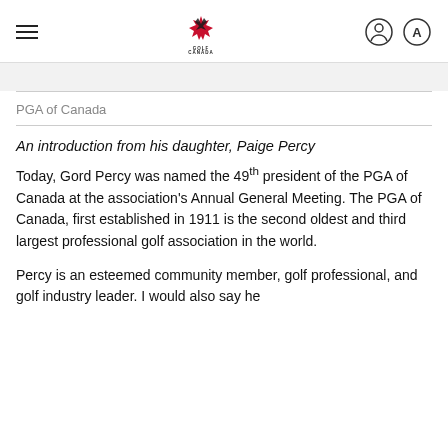Golf Canada
PGA of Canada
An introduction from his daughter, Paige Percy
Today, Gord Percy was named the 49th president of the PGA of Canada at the association's Annual General Meeting. The PGA of Canada, first established in 1911 is the second oldest and third largest professional golf association in the world.
Percy is an esteemed community member, golf professional, and golf industry leader. I would also say he